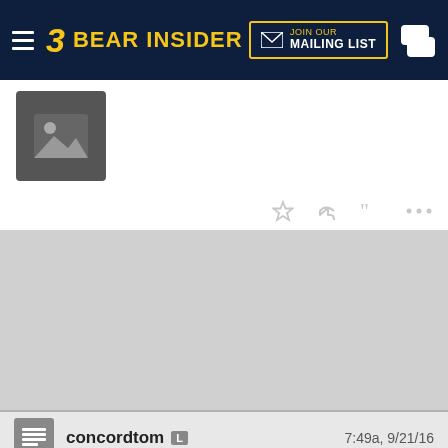Bear Insider — JOIN OUR MAILING LIST
[Figure (photo): Image placeholder thumbnail with mountain/photo icon on white background]
[Figure (screenshot): Gray content area (image not loaded)]
concordtom L    7:49a, 9/21/16
In reply to socaltownie